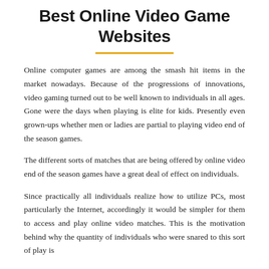Best Online Video Game Websites
Online computer games are among the smash hit items in the market nowadays. Because of the progressions of innovations, video gaming turned out to be well known to individuals in all ages. Gone were the days when playing is elite for kids. Presently even grown-ups whether men or ladies are partial to playing video end of the season games.
The different sorts of matches that are being offered by online video end of the season games have a great deal of effect on individuals.
Since practically all individuals realize how to utilize PCs, most particularly the Internet, accordingly it would be simpler for them to access and play online video matches. This is the motivation behind why the quantity of individuals who were snared to this sort of play is